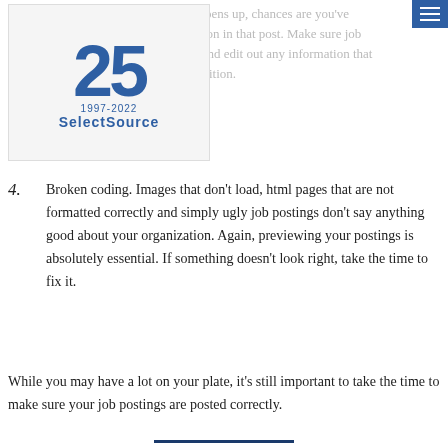SelectSource header with logo and navigation
copy and paste whenever a position opens up, chances are you've probably got some outdated information in that post. Make sure job descriptions are updated and current and edit out any information that may no longer be pertinent for the position.
4. Broken coding. Images that don't load, html pages that are not formatted correctly and simply ugly job postings don't say anything good about your organization. Again, previewing your postings is absolutely essential. If something doesn't look right, take the time to fix it.
While you may have a lot on your plate, it's still important to take the time to make sure your job postings are posted correctly.
[Figure (other): Facebook and Twitter social sharing buttons]
SEARCH JOBS | REQUEST AN EMPLOYEE | BLOG | CONTACT US